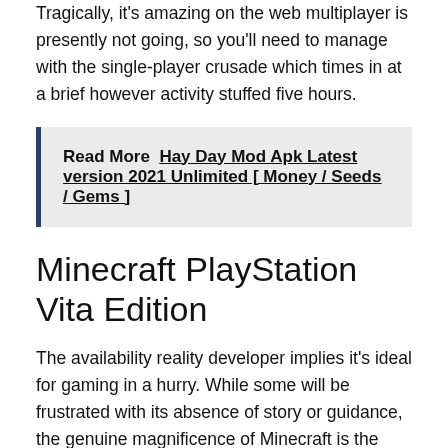Tragically, it's amazing on the web multiplayer is presently not going, so you'll need to manage with the single-player crusade which times in at a brief however activity stuffed five hours.
Read More  Hay Day Mod Apk Latest version 2021 Unlimited [ Money / Seeds / Gems ]
Minecraft PlayStation Vita Edition
The availability reality developer implies it's ideal for gaming in a hurry. While some will be frustrated with its absence of story or guidance, the genuine magnificence of Minecraft is the sheer opportunity that it offers. Essentially anything you can consider can be fabricated (giving you have the right assets or are playing in Creation mode) and you're just truly restricted by your creative mind. While it